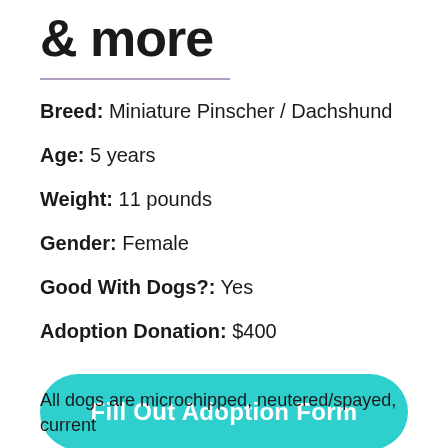& more
Breed: Miniature Pinscher / Dachshund
Age: 5 years
Weight: 11 pounds
Gender: Female
Good With Dogs?: Yes
Adoption Donation: $400
Fill Out Adoption Form
All dogs are microchipped, neutered/spayed, current